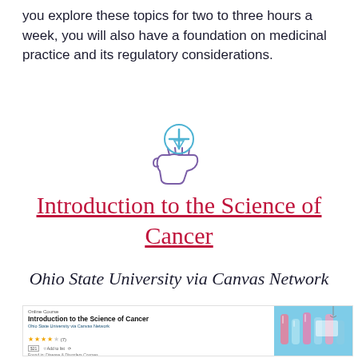you explore these topics for two to three hours a week, you will also have a foundation on medicinal practice and its regulatory considerations.
[Figure (illustration): Icon of a hand holding a medical/pharmaceutical symbol with a circle and cross above it, drawn in blue and purple outline style]
Introduction to the Science of Cancer
Ohio State University via Canvas Network
[Figure (screenshot): Screenshot of a course listing page showing 'Introduction to the Science of Cancer' by Ohio State University via Canvas Network, with star ratings and a thumbnail image of laboratory test tubes on a blue background]